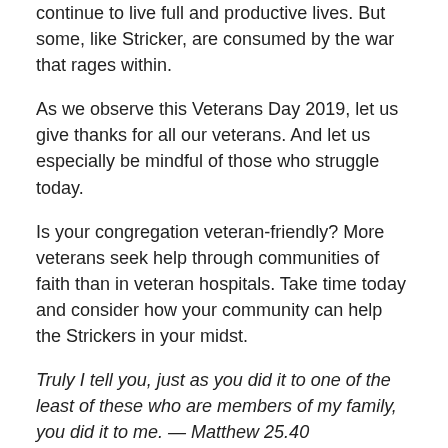continue to live full and productive lives. But some, like Stricker, are consumed by the war that rages within.
As we observe this Veterans Day 2019, let us give thanks for all our veterans. And let us especially be mindful of those who struggle today.
Is your congregation veteran-friendly? More veterans seek help through communities of faith than in veteran hospitals. Take time today and consider how your community can help the Strickers in your midst.
Truly I tell you, just as you did it to one of the least of these who are members of my family, you did it to me. — Matthew 25.40
Please pray for our chaplains and the men and women they serve in our military and VA hospitals and centers.
Lyman M. Smith, Captain, CHC, USN, retired; Director of the Presbyterian Counsel for Chaplains and Military Personnel